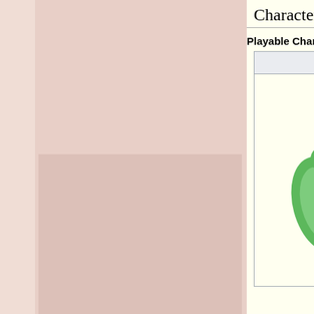Characters [ edit | edit source ]
| Image | Name | Description |
| --- | --- | --- |
| [Nutty image] | Nutty | Nutty is a sugar-crazed squirrel and the only character that appears in this game. He moves forward on his own, gradually speeding up the more |